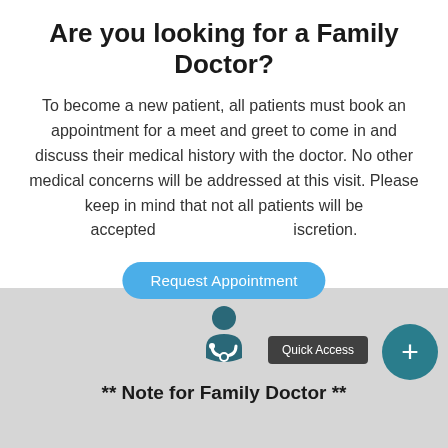Are you looking for a Family Doctor?
To become a new patient, all patients must book an appointment for a meet and greet to come in and discuss their medical history with the doctor. No other medical concerns will be addressed at this visit. Please keep in mind that not all patients will be accepted at the doctor's discretion.
[Figure (screenshot): Blue rounded button labeled 'Request Appointment' overlaying the body text]
[Figure (screenshot): Gray bottom section with a doctor icon (person with stethoscope), a dark 'Quick Access' button, a teal circular plus button, and bold text '** Note for Family Doctor **']